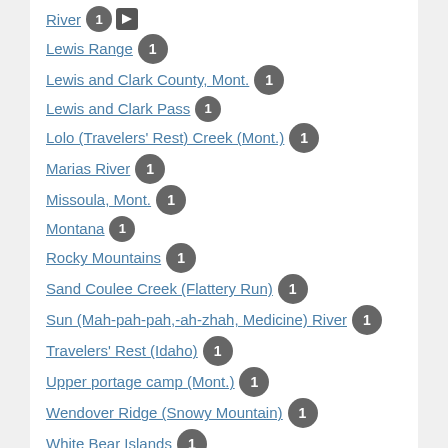River 1 [icon]
Lewis Range 1
Lewis and Clark County, Mont. 1
Lewis and Clark Pass 1
Lolo (Travelers' Rest) Creek (Mont.) 1
Marias River 1
Missoula, Mont. 1
Montana 1
Rocky Mountains 1
Sand Coulee Creek (Flattery Run) 1
Sun (Mah-pah-pah,-ah-zhah, Medicine) River 1
Travelers' Rest (Idaho) 1
Upper portage camp (Mont.) 1
Wendover Ridge (Snowy Mountain) 1
White Bear Islands 1
See all Places